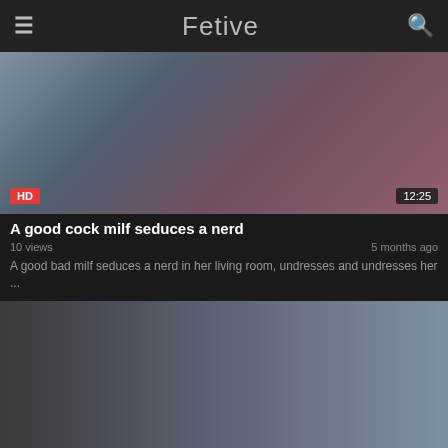Fetive
[Figure (screenshot): Video thumbnail showing two people on a couch, HD badge bottom-left, duration 12:25 bottom-right]
A good cock milf seduces a nerd
10 views · 5 months ago
A good bad milf seduces a nerd in her living room, undresses and undresses her ...
[Figure (screenshot): Video thumbnail showing a woman in black top and grey skirt at a door with a man, HD badge bottom-left, duration 12:28 bottom-right]
Sexy milf takes it in her pussy and finishes it
10 views